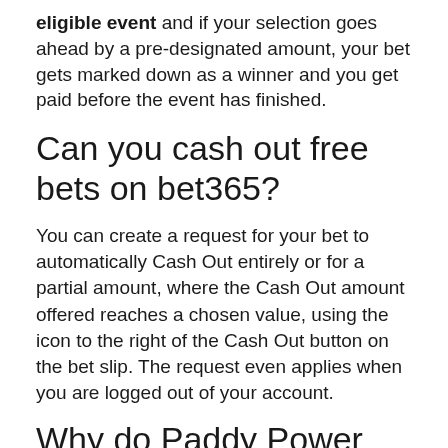eligible event and if your selection goes ahead by a pre-designated amount, your bet gets marked down as a winner and you get paid before the event has finished.
Can you cash out free bets on bet365?
You can create a request for your bet to automatically Cash Out entirely or for a partial amount, where the Cash Out amount offered reaches a chosen value, using the icon to the right of the Cash Out button on the bet slip. The request even applies when you are logged out of your account.
Why do Paddy Power pay